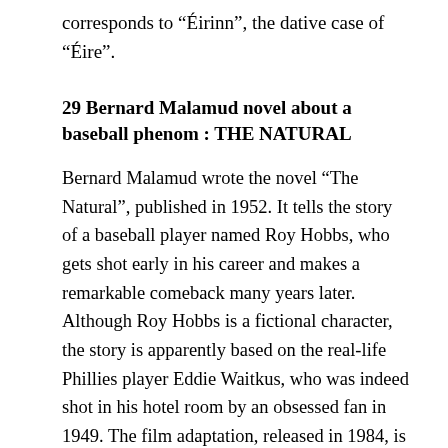corresponds to “Éirinn”, the dative case of “Éire”.
29 Bernard Malamud novel about a baseball phenom : THE NATURAL
Bernard Malamud wrote the novel “The Natural”, published in 1952. It tells the story of a baseball player named Roy Hobbs, who gets shot early in his career and makes a remarkable comeback many years later. Although Roy Hobbs is a fictional character, the story is apparently based on the real-life Phillies player Eddie Waitkus, who was indeed shot in his hotel room by an obsessed fan in 1949. The film adaptation, released in 1984, is an excellent movie starring Robert Redford as “The Natural”.
31 Detectives, informally : PIS